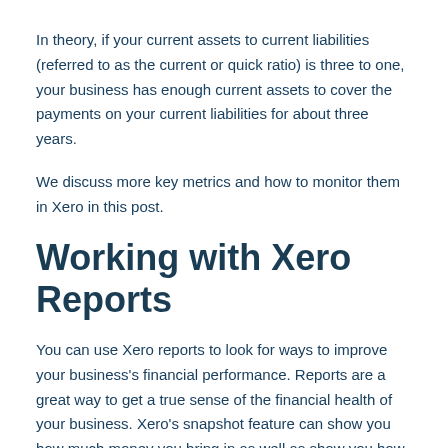In theory, if your current assets to current liabilities (referred to as the current or quick ratio) is three to one, your business has enough current assets to cover the payments on your current liabilities for about three years.
We discuss more key metrics and how to monitor them in Xero in this post.
Working with Xero Reports
You can use Xero reports to look for ways to improve your business's financial performance. Reports are a great way to get a true sense of the financial health of your business. Xero's snapshot feature can show you how much money you bring in as well as show you how much money you're spending every month.
Because Xero is a real time accounting app, you can create